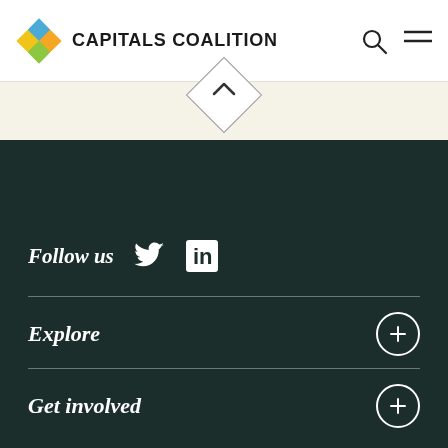CAPITALS COALITION
[Figure (logo): Capitals Coalition logo: colorful diamond shape with blue, orange/yellow, green quadrants, with 'CAPITALS COALITION' bold text beside it]
Follow us
Explore
Get involved